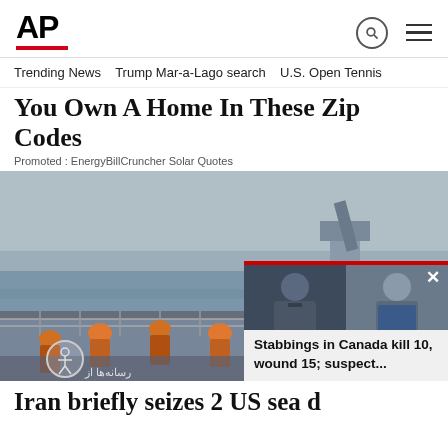AP
Trending News   Trump Mar-a-Lago search   U.S. Open Tennis
You Own A Home In These Zip Codes
Promoted : EnergyBillCruncher Solar Quotes
[Figure (photo): Video still from a ship deck showing people in orange life vests on a naval vessel at sea, with a gun turret visible. An overlay card shows two men's photos with text 'Stabbings in Canada kill 10, wound 15; suspect...']
Iran briefly seizes 2 US sea d